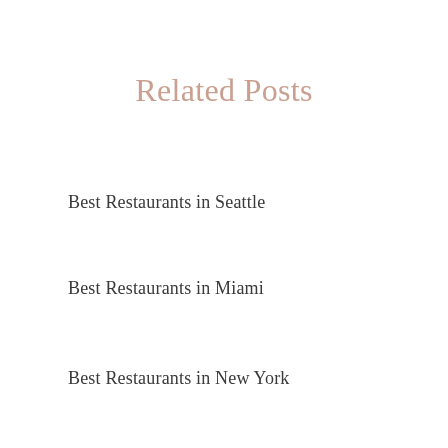Related Posts
Best Restaurants in Seattle
Best Restaurants in Miami
Best Restaurants in New York